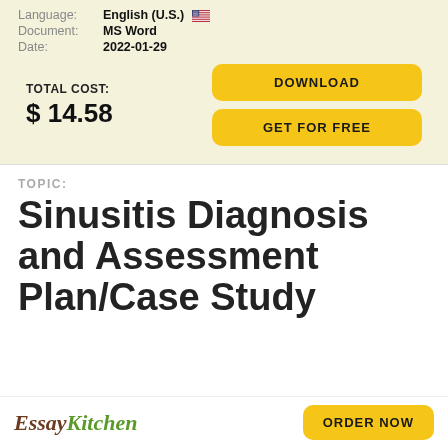Language: English (U.S.) 🇺🇸
Document: MS Word
Date: 2022-01-29
TOTAL COST: $ 14.58
DOWNLOAD
GET FOR FREE
TOPIC:
Sinusitis Diagnosis and Assessment Plan/Case Study
EssayKitchen  ORDER NOW